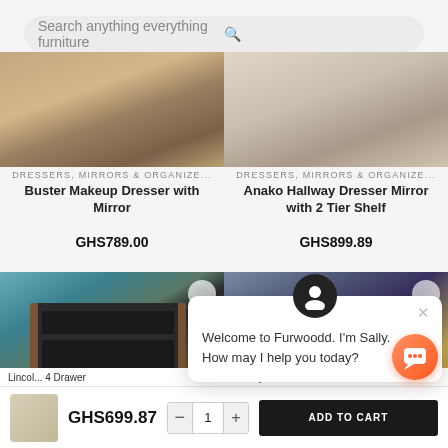[Figure (screenshot): Search bar at top with placeholder text 'Search anything everything furniture' and a search icon]
DRESSERS, MIRRORS & ORGANIZE...
Buster Makeup Dresser with Mirror
GHS789.00
DRESSERS, MIRRORS & ORGANIZE...
Anako Hallway Dresser Mirror with 2 Tier Shelf
GHS899.89
[Figure (photo): Photo of a dark dresser with 3 drawers against a teal/blue wall with a round mirror and decorations on top]
[Figure (photo): Photo of a dark bedroom dresser in a grey room with yellow curtain]
Welcome to Furwoodd. I'm Sally. How may I help you today?
GHS699.87
ADD TO CART
Lincol... 4 Drawer
...esley Dresser With Eli...or